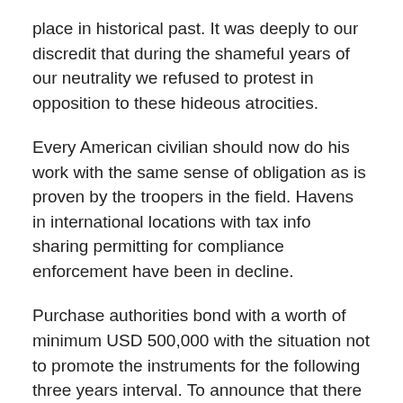place in historical past. It was deeply to our discredit that during the shameful years of our neutrality we refused to protest in opposition to these hideous atrocities.
Every American civilian should now do his work with the same sense of obligation as is proven by the troopers in the field. Havens in international locations with tax info sharing permitting for compliance enforcement have been in decline.
Purchase authorities bond with a worth of minimum USD 500,000 with the situation not to promote the instruments for the following three years interval. To announce that there must be no criticism of the President, or that we're to face by the President, right or wrong, just isn't only unpatriotic and servile, however is morally treasonable to the American public. But it is even more necessary to inform the reality, pleasant or